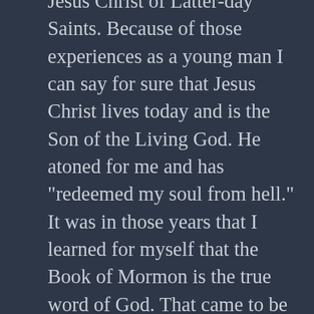Jesus Christ of Latter-day Saints. Because of those experiences as a young man I can say for sure that Jesus Christ lives today and is the Son of the Living God. He atoned for me and has "redeemed my soul from hell." It was in those years that I learned for myself that the Book of Mormon is the true word of God. That came to be a huge social battle for one young as I was growing up in the Bible belt. I spent those years trying to live my life in such a way that people would know that I was a follower of Christ only to find out after years of hanging out with my friends that none of them believed I